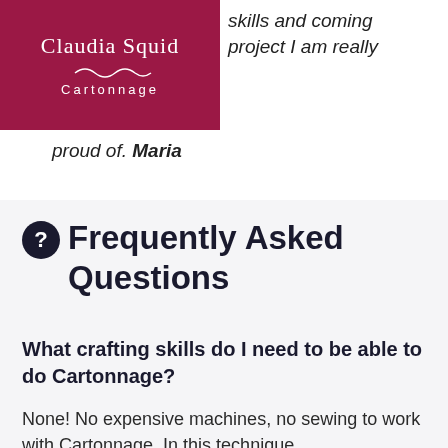[Figure (logo): Claudia Squid Cartonnage logo — dark crimson/maroon background with handwritten script text 'Claudia Squid' and 'Cartonnage' in white]
skills and coming project I am really proud of. Maria
Frequently Asked Questions
What crafting skills do I need to be able to do Cartonnage?
None! No expensive machines, no sewing to work with Cartonnage. In this technique